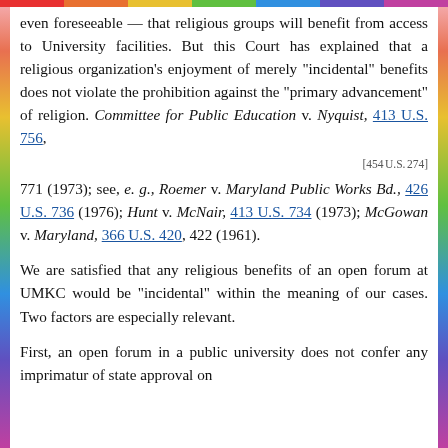even foreseeable — that religious groups will benefit from access to University facilities. But this Court has explained that a religious organization's enjoyment of merely "incidental" benefits does not violate the prohibition against the "primary advancement" of religion. Committee for Public Education v. Nyquist, 413 U.S. 756,
[454 U.S. 274]
771 (1973); see, e. g., Roemer v. Maryland Public Works Bd., 426 U.S. 736 (1976); Hunt v. McNair, 413 U.S. 734 (1973); McGowan v. Maryland, 366 U.S. 420, 422 (1961).
We are satisfied that any religious benefits of an open forum at UMKC would be "incidental" within the meaning of our cases. Two factors are especially relevant.
First, an open forum in a public university does not confer any imprimatur of state approval on